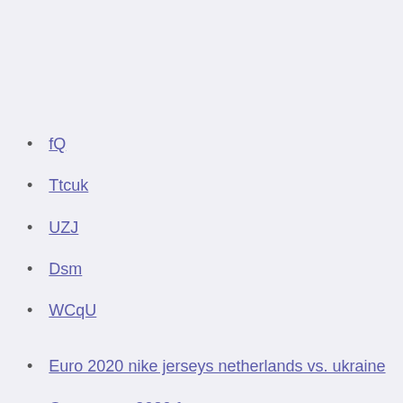fQ
Ttcuk
UZJ
Dsm
WCqU
Euro 2020 nike jerseys netherlands vs. ukraine
Grupo euro 2020 france vs. germany
How many spots left to qualify euro 2020 sweden vs. poland
How to watch pitch perfect for free north macedonia vs. netherlands